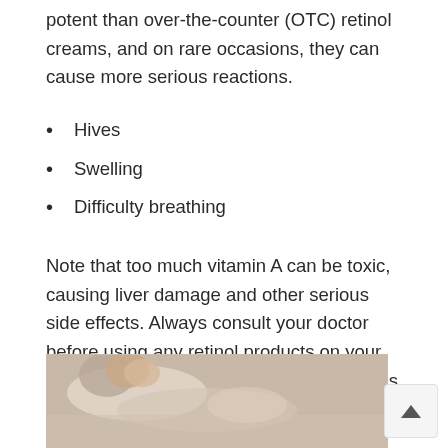potent than over-the-counter (OTC) retinol creams, and on rare occasions, they can cause more serious reactions.
Hives
Swelling
Difficulty breathing
Note that too much vitamin A can be toxic, causing liver damage and other serious side effects. Always consult your doctor before using any retinol products on your skin, especially if you're taking medications or any supplements that contain vitamin A.
[Figure (photo): A woman lying down, appearing relaxed or asleep, with arm raised, soft lighting]